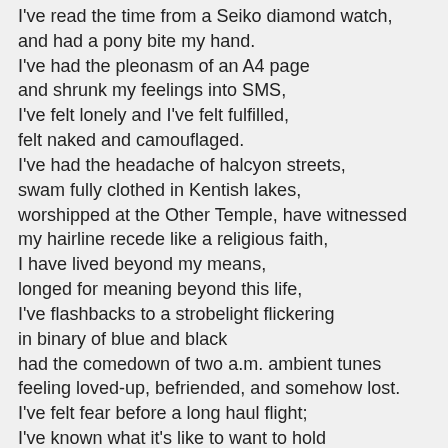I've read the time from a Seiko diamond watch, and had a pony bite my hand. I've had the pleonasm of an A4 page and shrunk my feelings into SMS, I've felt lonely and I've felt fulfilled, felt naked and camouflaged. I've had the headache of halcyon streets, swam fully clothed in Kentish lakes, worshipped at the Other Temple, have witnessed my hairline recede like a religious faith, I have lived beyond my means, longed for meaning beyond this life, I've flashbacks to a strobelight flickering in binary of blue and black had the comedown of two a.m. ambient tunes feeling loved-up, befriended, and somehow lost. I've felt fear before a long haul flight; I've known what it's like to want to hold that person who will never requite. I've missed opportunities, kicked myself. I've tasted chicken Malaya, talked football, laughed,